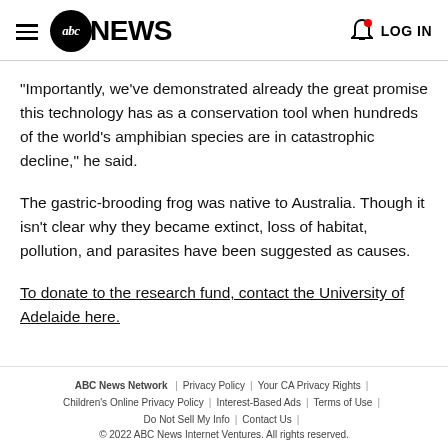abc NEWS | LOG IN
"Importantly, we've demonstrated already the great promise this technology has as a conservation tool when hundreds of the world's amphibian species are in catastrophic decline," he said.
The gastric-brooding frog was native to Australia. Though it isn't clear why they became extinct, loss of habitat, pollution, and parasites have been suggested as causes.
To donate to the research fund, contact the University of Adelaide here.
ABC News Network | Privacy Policy | Your CA Privacy Rights | Children's Online Privacy Policy | Interest-Based Ads | Terms of Use | Do Not Sell My Info | Contact Us | © 2022 ABC News Internet Ventures. All rights reserved.